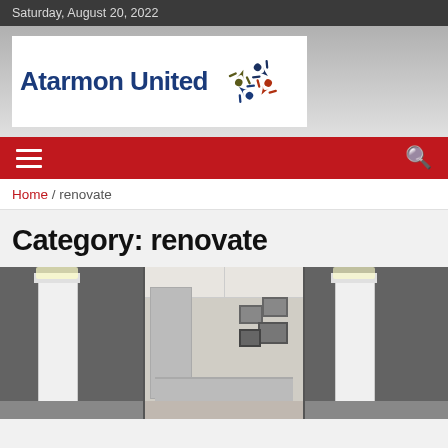Saturday, August 20, 2022
[Figure (logo): Atarmon United logo with colorful human figures swirling icon]
[Figure (screenshot): Red navigation bar with hamburger menu icon on left and search icon on right]
Home / renovate
Category: renovate
[Figure (photo): Interior room photo showing white tall cabinets with lighting against dark grey walls and a room with mirror and framed pictures on wall]